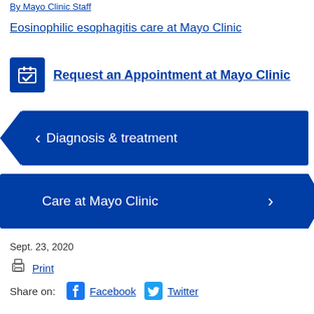By Mayo Clinic Staff
Eosinophilic esophagitis care at Mayo Clinic
Request an Appointment at Mayo Clinic
< Diagnosis & treatment
Care at Mayo Clinic >
Sept. 23, 2020
Print
Share on: Facebook Twitter